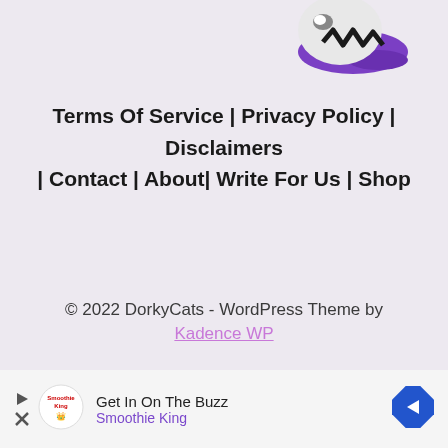[Figure (logo): Purple and white cat logo with a black zigzag pattern, wearing a purple cap, positioned in the top-right area]
Terms Of Service | Privacy Policy | Disclaimers | Contact | About| Write For Us | Shop
© 2022 DorkyCats - WordPress Theme by Kadence WP
[Figure (infographic): Advertisement bar: Get In On The Buzz - Smoothie King, with play and close icons on the left, Smoothie King logo, text, and a blue diamond arrow icon on the right]